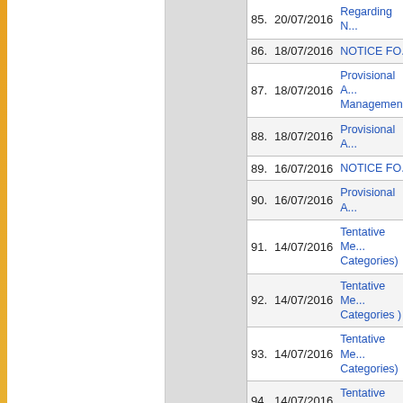| No. | Date | Title |
| --- | --- | --- |
| 85. | 20/07/2016 | Regarding N... |
| 86. | 18/07/2016 | NOTICE FO... |
| 87. | 18/07/2016 | Provisional A... Management... |
| 88. | 18/07/2016 | Provisional A... |
| 89. | 16/07/2016 | NOTICE FO... |
| 90. | 16/07/2016 | Provisional A... |
| 91. | 14/07/2016 | Tentative Me... Categories) |
| 92. | 14/07/2016 | Tentative Me... Categories ) |
| 93. | 14/07/2016 | Tentative Me... Categories) |
| 94. | 14/07/2016 | Tentative Me... |
| 95. | 13/07/2016 | MERIT LIST... |
| 96. | 13/07/2016 | Merit List of... |
| 97. | 14/06/2016 | Fill form onli... http://pgadm... |
| 98. | 22/01/2016 | Special Lect... |